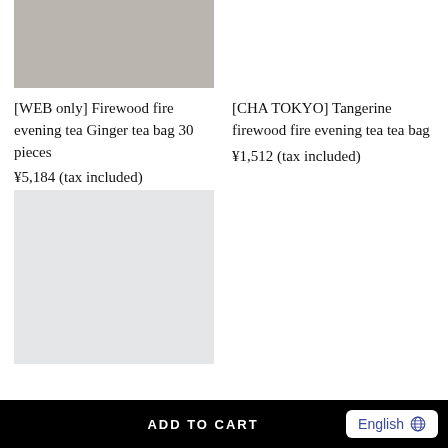[Figure (photo): Product image placeholder - grayish-beige rectangle for Firewood fire evening tea Ginger tea bag]
[WEB only] Firewood fire evening tea Ginger tea bag 30 pieces
¥5,184 (tax included)
[Figure (photo): Product image placeholder - light gray rectangle for second product]
[CHA TOKYO] Tangerine firewood fire evening tea tea bag
¥1,512 (tax included)
ADD TO CART  English